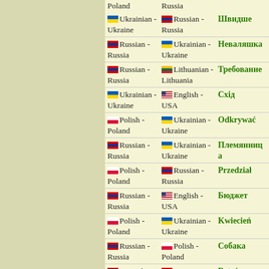Poland | Russia
Ukrainian - Ukraine | Russian - Russia | Швидше
Russian - Russia | Ukrainian - Ukraine | Неваляшка
Russian - Russia | Lithuanian - Lithuania | Требование
Ukrainian - Ukraine | English - USA | Схід
Polish - Poland | Ukrainian - Ukraine | Odkrywać
Russian - Russia | Ukrainian - Ukraine | Племянница
Polish - Poland | Russian - Russia | Przedział
Russian - Russia | English - USA | Бюджет
Polish - Poland | Ukrainian - Ukraine | Kwiecień
Russian - Russia | Polish - Poland | Собака
Spanish - Spain | Russian - Russia | Detrás
Polish - | Russian - | Kolejność